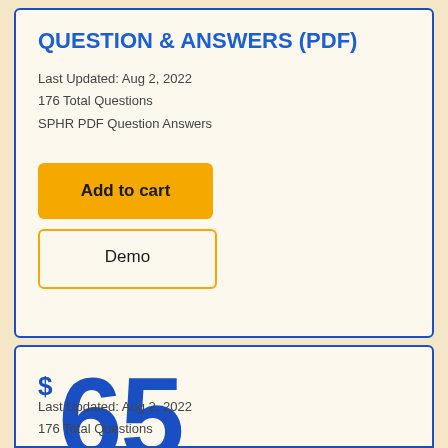QUESTION & ANSWERS (PDF)
Last Updated: Aug 2, 2022
176 Total Questions
SPHR PDF Question Answers
Add to cart
Demo
$ 65
Web Based Practice Test
Last Updated: Aug 2, 2022
176 Total Questions